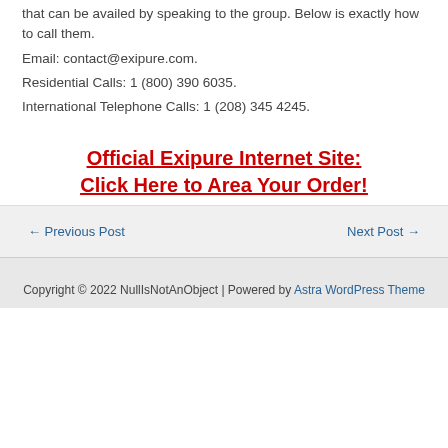that can be availed by speaking to the group. Below is exactly how to call them.
Email: contact@exipure.com.
Residential Calls: 1 (800) 390 6035.
International Telephone Calls: 1 (208) 345 4245.
Official Exipure Internet Site: Click Here to Area Your Order!
← Previous Post
Next Post →
Copyright © 2022 NullIsNotAnObject | Powered by Astra WordPress Theme